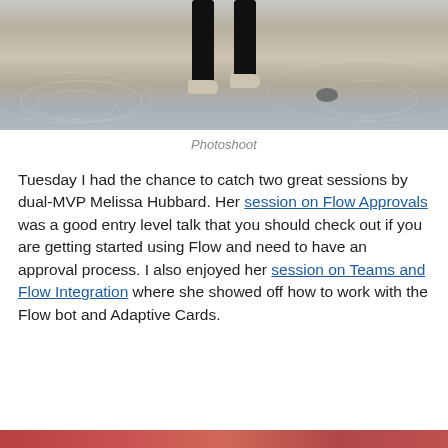[Figure (photo): Person's legs and feet in dark pants and light sneakers, standing in shallow water with ripples around them. Photoshoot image.]
Photoshoot
Tuesday I had the chance to catch two great sessions by dual-MVP Melissa Hubbard. Her session on Flow Approvals was a good entry level talk that you should check out if you are getting started using Flow and need to have an approval process. I also enjoyed her session on Teams and Flow Integration where she showed off how to work with the Flow bot and Adaptive Cards.
[Figure (photo): Bottom strip showing partial image, reddish tones.]